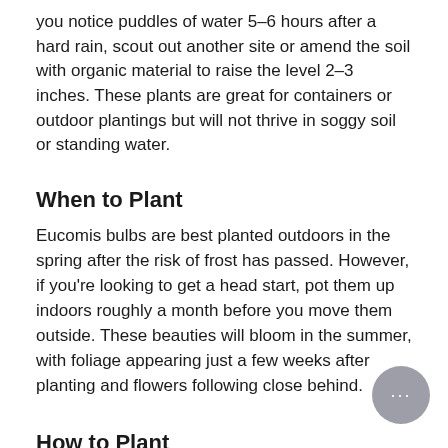you notice puddles of water 5–6 hours after a hard rain, scout out another site or amend the soil with organic material to raise the level 2–3 inches. These plants are great for containers or outdoor plantings but will not thrive in soggy soil or standing water.
When to Plant
Eucomis bulbs are best planted outdoors in the spring after the risk of frost has passed. However, if you're looking to get a head start, pot them up indoors roughly a month before you move them outside. These beauties will bloom in the summer, with foliage appearing just a few weeks after planting and flowers following close behind.
How to Plant
For outdoor landscape planting, find a spot